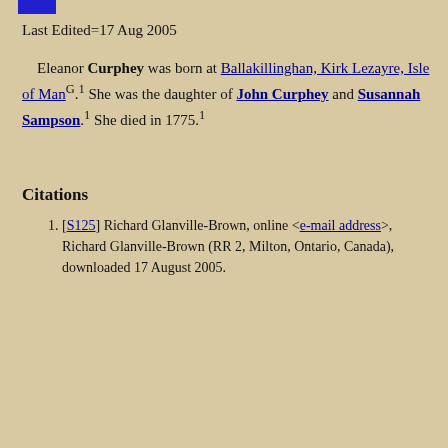Last Edited=17 Aug 2005
Eleanor Curphey was born at Ballakillinghan, Kirk Lezayre, Isle of Man G . 1 She was the daughter of John Curphey and Susannah Sampson . 1 She died in 1775. 1
Citations
[S125] Richard Glanville-Brown, online <e-mail address>, Richard Glanville-Brown (RR 2, Milton, Ontario, Canada), downloaded 17 August 2005.